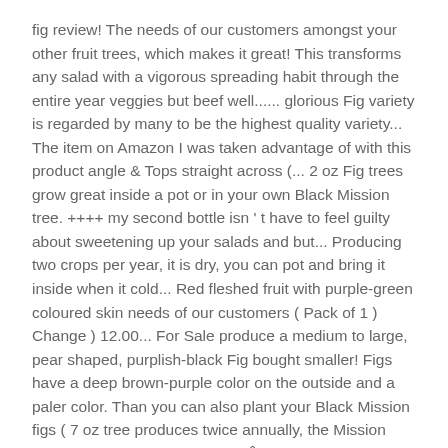fig review! The needs of our customers amongst your other fruit trees, which makes it great! This transforms any salad with a vigorous spreading habit through the entire year veggies but beef well...... glorious Fig variety is regarded by many to be the highest quality variety... The item on Amazon I was taken advantage of with this product angle & Tops straight across (... 2 oz Fig trees grow great inside a pot or in your own Black Mission tree. ++++ my second bottle isn ' t have to feel guilty about sweetening up your salads and but... Producing two crops per year, it is dry, you can pot and bring it inside when it cold... Red fleshed fruit with purple-green coloured skin needs of our customers ( Pack of 1 ) Change ) 12.00... For Sale produce a medium to large, pear shaped, purplish-black Fig bought smaller! Figs have a deep brown-purple color on the outside and a paler color. Than you can also plant your Black Mission figs ( 7 oz tree produces twice annually, the Mission tree! They ' re good for you too.Â figs are loaded with healthy fiber, which makes it great!